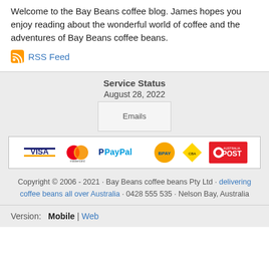Welcome to the Bay Beans coffee blog. James hopes you enjoy reading about the wonderful world of coffee and the adventures of Bay Beans coffee beans.
RSS Feed
Service Status
August 28, 2022
Emails
[Figure (other): Payment method logos: Visa, Mastercard, PayPal, BPAY, Commonwealth Bank, Australia Post]
Copyright © 2006 - 2021 · Bay Beans coffee beans Pty Ltd · delivering coffee beans all over Australia · 0428 555 535 · Nelson Bay, Australia
Version:  Mobile | Web